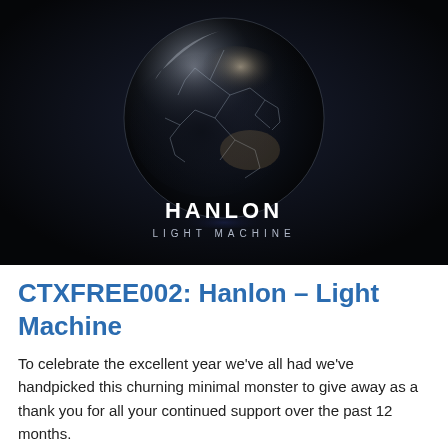[Figure (illustration): Album artwork for Hanlon – Light Machine: a dark space scene with a cracked glassy sphere resembling Earth, with swirling dark liquid and light. Text 'HANLON' in bold white letters and 'LIGHT MACHINE' in spaced white letters below.]
CTXFREE002: Hanlon – Light Machine
To celebrate the excellent year we've all had we've handpicked this churning minimal monster to give away as a thank you for all your continued support over the past 12 months.